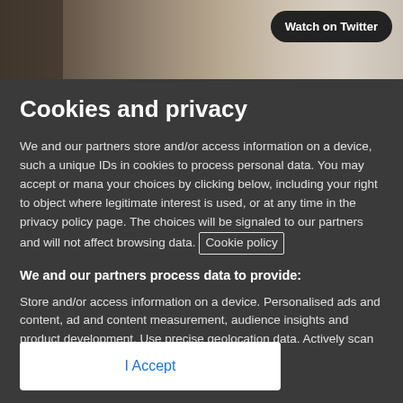[Figure (photo): Photo strip showing street/building scene with brick wall, partially visible. 'Watch on Twitter' button overlaid in top right corner.]
Cookies and privacy
We and our partners store and/or access information on a device, such as unique IDs in cookies to process personal data. You may accept or manage your choices by clicking below, including your right to object where legitimate interest is used, or at any time in the privacy policy page. These choices will be signaled to our partners and will not affect browsing data. Cookie policy
We and our partners process data to provide:
Store and/or access information on a device. Personalised ads and content, ad and content measurement, audience insights and product development. Use precise geolocation data. Actively scan device characteristics for identification
List of Partners (vendors)
I Accept